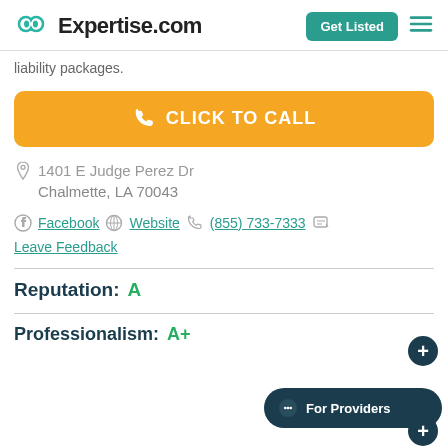Expertise.com
liability packages.
CLICK TO CALL
1401 E Judge Perez Dr
Chalmette, LA 70043
Facebook   Website   (855) 733-7333
Leave Feedback
Reputation:  A
Professionalism:  A+